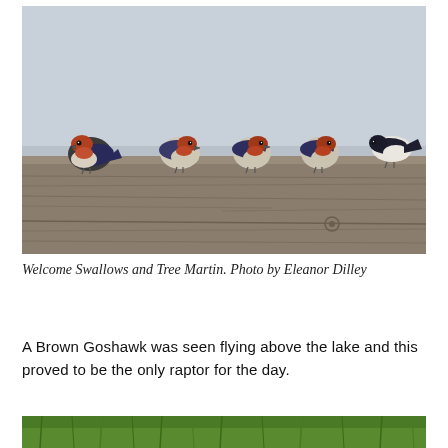[Figure (photo): Five small birds (Welcome Swallows and a Tree Martin) perched in a row on top of a weathered wooden fence or beam. The background is a pale grey-blue overcast sky. The birds have rust/orange faces, dark wings and white/pale underbellies.]
Welcome Swallows and Tree Martin. Photo by Eleanor Dilley
A Brown Goshawk was seen flying above the lake and this proved to be the only raptor for the day.
[Figure (photo): Partial view of a photo showing green grass — only the top strip is visible, cropped at the bottom of the page.]